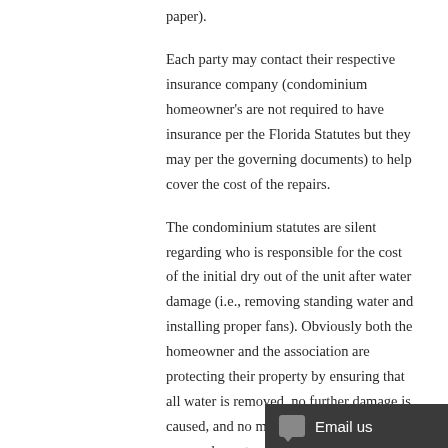paper).
Each party may contact their respective insurance company (condominium homeowner’s are not required to have insurance per the Florida Statutes but they may per the governing documents) to help cover the cost of the repairs.
The condominium statutes are silent regarding who is responsible for the cost of the initial dry out of the unit after water damage (i.e., removing standing water and installing proper fans). Obviously both the homeowner and the association are protecting their property by ensuring that all water is removed, no further damage is caused, and no mold issues develop. A proper dry out can be very costly and it is up to the associati...